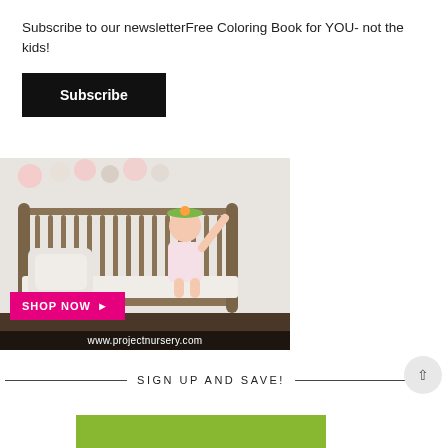Subscribe to our newsletterFree Coloring Book for YOU- not the kids!
[Figure (other): Black Subscribe button]
[Figure (photo): Advertisement photo of a young girl standing in a metal crib with a 'SHOP NOW' pink button and www.projectnursery.com URL bar at the bottom]
SIGN UP AND SAVE!
[Figure (other): Green bar at the bottom, partially visible]